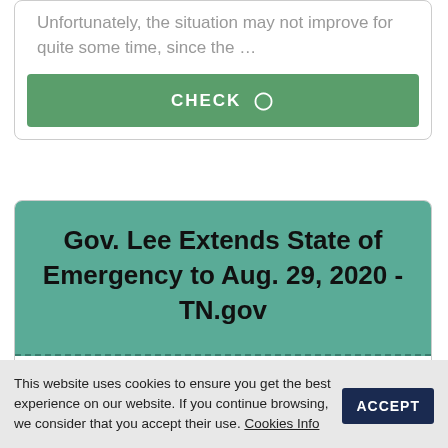Unfortunately, the situation may not improve for quite some time, since the …
CHECK
Gov. Lee Extends State of Emergency to Aug. 29, 2020 - TN.gov
29 Jun 2020 … NASHVILLE, Tenn. – Tennessee Governor Bill Lee today signed Executive Order No. 50 to extend the State of Emergency related to the …
This website uses cookies to ensure you get the best experience on our website. If you continue browsing, we consider that you accept their use. Cookies Info